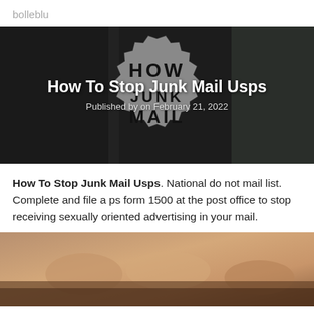bolleblu
[Figure (photo): Dark background with a circular grey stamp/badge graphic reading 'HOW JUNK MAIL' in large bold text, overlaid with the article title 'How To Stop Junk Mail Usps' and publication date 'Published by on February 21, 2022']
How To Stop Junk Mail Usps. National do not mail list. Complete and file a ps form 1500 at the post office to stop receiving sexually oriented advertising in your mail.
[Figure (photo): Close-up photo of hands, partially cropped at bottom of page]